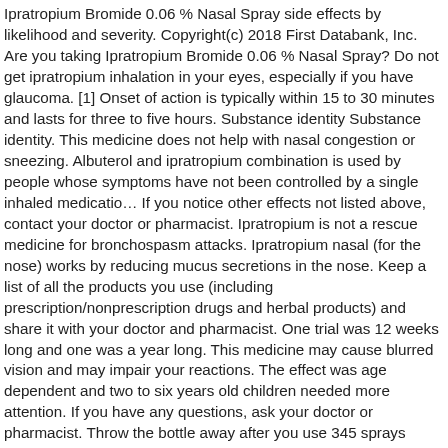Ipratropium Bromide 0.06 % Nasal Spray side effects by likelihood and severity. Copyright(c) 2018 First Databank, Inc. Are you taking Ipratropium Bromide 0.06 % Nasal Spray? Do not get ipratropium inhalation in your eyes, especially if you have glaucoma. [1] Onset of action is typically within 15 to 30 minutes and lasts for three to five hours. Substance identity Substance identity. This medicine does not help with nasal congestion or sneezing. Albuterol and ipratropium combination is used by people whose symptoms have not been controlled by a single inhaled medicatio… If you notice other effects not listed above, contact your doctor or pharmacist. Ipratropium is not a rescue medicine for bronchospasm attacks. Ipratropium nasal (for the nose) works by reducing mucus secretions in the nose. Keep a list of all the products you use (including prescription/nonprescription drugs and herbal products) and share it with your doctor and pharmacist. One trial was 12 weeks long and one was a year long. This medicine may cause blurred vision and may impair your reactions. The effect was age dependent and two to six years old children needed more attention. If you have any questions, ask your doctor or pharmacist. Throw the bottle away after you use 345 sprays (0.03% nasal spray) even if some liquid remains in the bottle. Since dizziness and blurred vision may occur with the use of COMBIVENT RESPIMAT, caution patients about engaging in activities such as driving a vehicle or operating appliances or machinery. Ipratropium Bromide Monohydrate… Utilisations et avantages… A